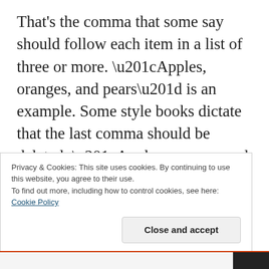That's the comma that some say should follow each item in a list of three or more. “Apples, oranges, and pears” is an example. Some style books dictate that the last comma should be deleted: “Apples, oranges and pears.” Actually, I first learned to use the Oxford comma, and then was forced in school to eliminate it. It was rather like the way, in the early years of the last century, lefties were forced to learn to write with their
Privacy & Cookies: This site uses cookies. By continuing to use this website, you agree to their use.
To find out more, including how to control cookies, see here: Cookie Policy
Close and accept